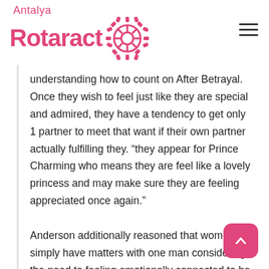Antalya Rotaract
understanding how to count on After Betrayal. Once they wish to feel just like they are special and admired, they have a tendency to get only 1 partner to meet that want if their own partner actually fulfilling they. “they appear for Prince Charming who means they are feel like a lovely princess and may make sure they are feeling appreciated once again.”
Anderson additionally reasoned that women simply have matters with one man considering the need to feeling emotionally connected to be pleased intimately.